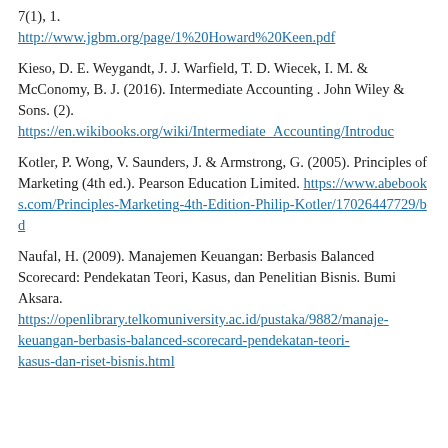7(1), 1. http://www.jgbm.org/page/1%20Howard%20Keen.pdf
Kieso, D. E. Weygandt, J. J. Warfield, T. D. Wiecek, I. M. & McConomy, B. J. (2016). Intermediate Accounting . John Wiley & Sons. (2). https://en.wikibooks.org/wiki/Intermediate_Accounting/Introduc
Kotler, P. Wong, V. Saunders, J. & Armstrong, G. (2005). Principles of Marketing (4th ed.). Pearson Education Limited. https://www.abebooks.com/Principles-Marketing-4th-Edition-Philip-Kotler/17026447729/bd
Naufal, H. (2009). Manajemen Keuangan: Berbasis Balanced Scorecard: Pendekatan Teori, Kasus, dan Penelitian Bisnis. Bumi Aksara. https://openlibrary.telkomuniversity.ac.id/pustaka/9882/manajemen-keuangan-berbasis-balanced-scorecard-pendekatan-teori-kasus-dan-riset-bisnis.html